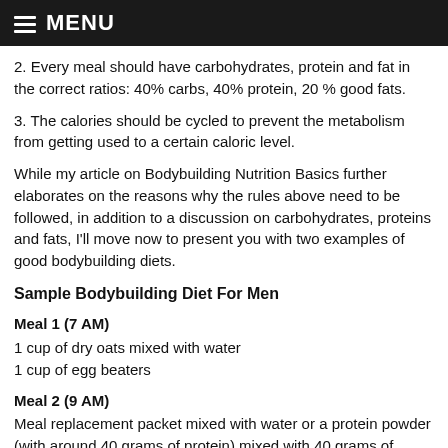MENU
2. Every meal should have carbohydrates, protein and fat in the correct ratios: 40% carbs, 40% protein, 20 % good fats.
3. The calories should be cycled to prevent the metabolism from getting used to a certain caloric level.
While my article on Bodybuilding Nutrition Basics further elaborates on the reasons why the rules above need to be followed, in addition to a discussion on carbohydrates, proteins and fats, I'll move now to present you with two examples of good bodybuilding diets.
Sample Bodybuilding Diet For Men
Meal 1 (7 AM)
1 cup of dry oats mixed with water
1 cup of egg beaters
Meal 2 (9 AM)
Meal replacement packet mixed with water or a protein powder (with around 40 grams of protein) mixed with 40 grams of carbs from cream of rice, grits, or oatmeal.